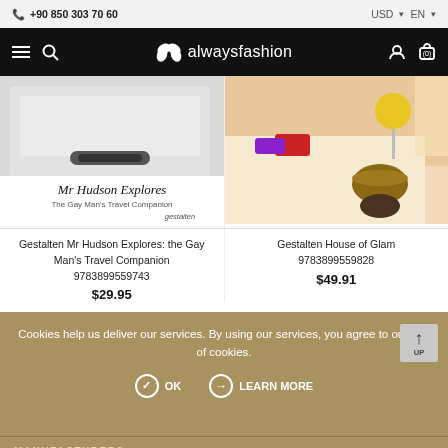📞 +90 850 303 70 60  |  USD  EN
[Figure (logo): alwaysfashion logo with butterfly icon on black navigation bar, hamburger menu and search icon on left, account and cart icons on right]
[Figure (photo): Book cover: Mr Hudson Explores - The Gay Man's Travel Companion, gestalten publisher, showing car door detail]
Gestalten Mr Hudson Explores: the Gay Man's Travel Companion
9783899559743
$29.95
[Figure (photo): Interior bedroom scene with golden lamp, colorful pillows, round side table for House of Glam book]
Gestalten House of Glam
9783899559828
$49.91
Cookies help us deliver our services. By using our services, you agree to our use of cookies.
✓ OK   → LEARN MORE
MANUFACTURERS